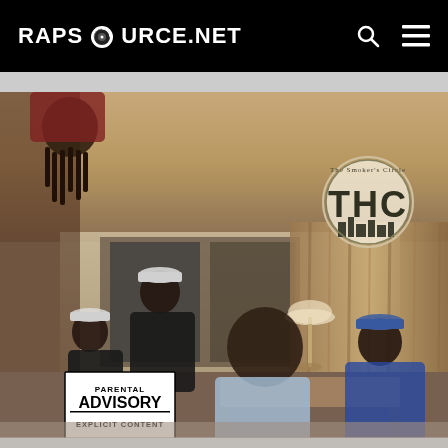RAPSOURCE.NET
[Figure (photo): Album cover for THC (The Smoker's Club) showing a group of rappers posing in a hotel room scene. Several men are visible, one hanging upside down at top left, others seated and standing around a table. A Parental Advisory Explicit Content label appears in the bottom left corner. A circular THC logo/seal is visible in the upper right area of the image.]